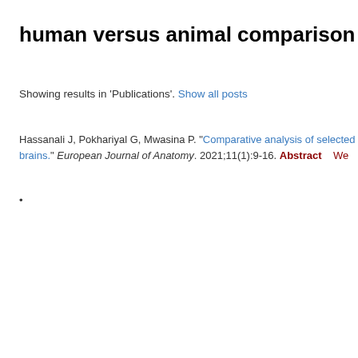human versus animal comparison
Showing results in 'Publications'. Show all posts
Hassanali J, Pokhariyal G, Mwasina P. "Comparative analysis of selected brains." European Journal of Anatomy. 2021;11(1):9-16. Abstract  We
•